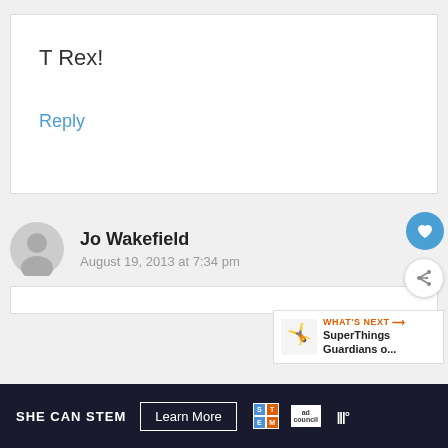T Rex!
Reply
Jo Wakefield
August 19, 2013 at 7:34 pm
WHAT'S NEXT → SuperThings Guardians o...
SHE CAN STEM  Learn More